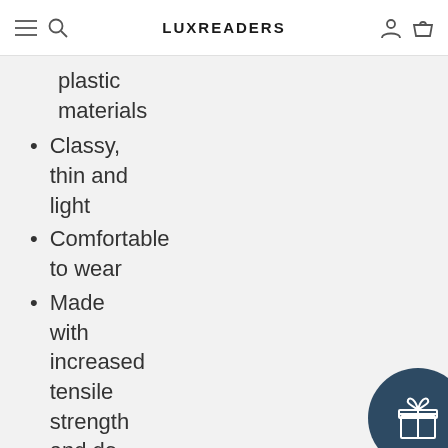LUXREADERS
plastic materials
Classy, thin and light
Comfortable to wear
Made with increased tensile strength and do not